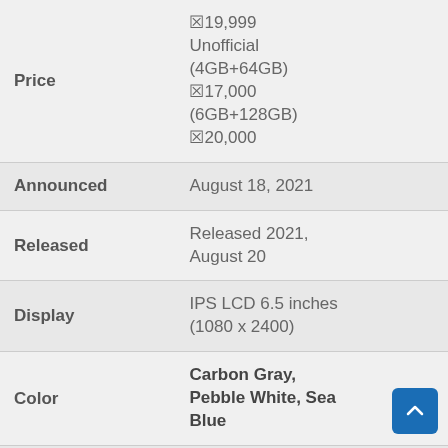| Field | Value |
| --- | --- |
| Price | ₹19,999 Unofficial (4GB+64GB) ₹17,000 (6GB+128GB) ₹20,000 |
| Announced | August 18, 2021 |
| Released | Released 2021, August 20 |
| Display | IPS LCD 6.5 inches (1080 x 2400) |
| Color | Carbon Gray, Pebble White, Sea Blue |
| RAM/ROM | 4/64 GB & 4/128 GB & 6/128 GB |